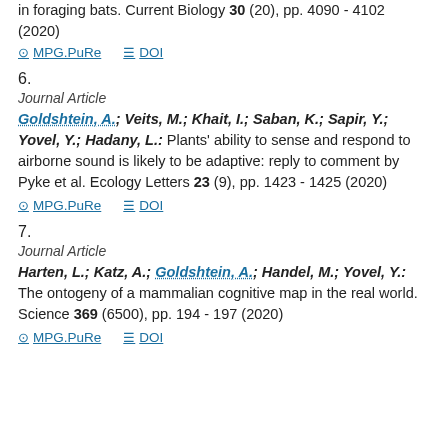in foraging bats. Current Biology 30 (20), pp. 4090 - 4102 (2020)
MPG.PuRe   DOI
6.
Journal Article
Goldshtein, A.; Veits, M.; Khait, I.; Saban, K.; Sapir, Y.; Yovel, Y.; Hadany, L.: Plants' ability to sense and respond to airborne sound is likely to be adaptive: reply to comment by Pyke et al. Ecology Letters 23 (9), pp. 1423 - 1425 (2020)
MPG.PuRe   DOI
7.
Journal Article
Harten, L.; Katz, A.; Goldshtein, A.; Handel, M.; Yovel, Y.: The ontogeny of a mammalian cognitive map in the real world. Science 369 (6500), pp. 194 - 197 (2020)
MPG.PuRe   DOI